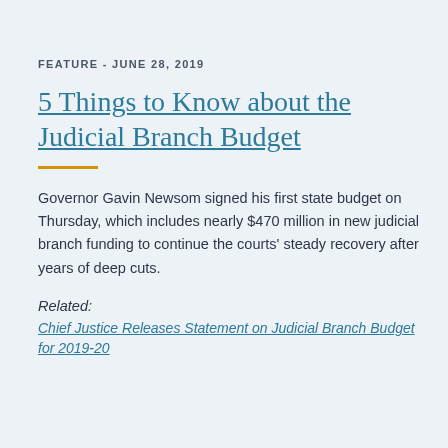FEATURE - JUNE 28, 2019
5 Things to Know about the Judicial Branch Budget
Governor Gavin Newsom signed his first state budget on Thursday, which includes nearly $470 million in new judicial branch funding to continue the courts' steady recovery after years of deep cuts.
Related:
Chief Justice Releases Statement on Judicial Branch Budget for 2019-20